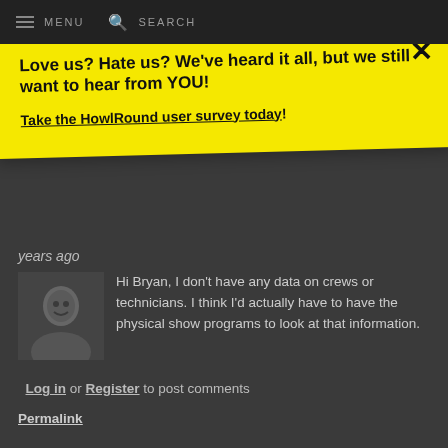MENU   SEARCH
Love us? Hate us? We've heard it all, but we still want to hear from YOU!

Take the HowlRound user survey today!
years ago
[Figure (photo): Profile photo of a person, grayscale]
Hi Bryan, I don't have any data on crews or technicians. I think I'd actually have to have the physical show programs to look at that information.
Log in or Register to post comments
Permalink